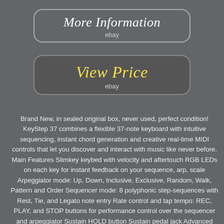[Figure (other): Button/banner with text 'More Information' and 'ebay' label, rounded rectangle border]
[Figure (other): Button/banner with text 'View Price' and 'ebay' label, darker rounded rectangle with yellow text]
Brand New, in sealed original box, never used, perfect condition! KeyStep 37 combines a flexible 37-note keyboard with intuitive sequencing, instant chord generation and creative real-time MIDI controls that let you discover and interact with music like never before. Main Features Slimkey keybed with velocity and aftertouch RGB LEDs on each key for instant feedback on your sequence, arp, scale Arpeggiator mode: Up, Down, Inclusive, Exclusive, Random, Walk, Pattern and Order Sequencer mode: 8 polyphonic step-sequences with Rest, Tie, and Legato note entry Rate control and tap tempo: REC, PLAY, and STOP buttons for performance control over the sequencer and arpeggiator Sustain HOLD button Sustain pedal jack Advanced Chord mode with pre-defined or user Chords and strumming capability SHIFT button selection : MIDI Channel selection, Gate length, Swing, Sequence Edit, Scale quantization, CC Bank selection DC power jack for standalone operation USB MIDI and MIDI in/out ports Sync i/o ports Sync source switch : Internal, USB, MIDI, Clock CV/Gate outputs with configurable